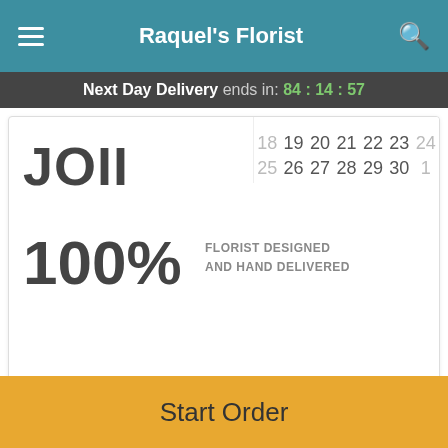Raquel's Florist
Next Day Delivery ends in: 84:14:57
[Figure (screenshot): Partially visible promotional card showing 'JOIN' and '100%' text with 'FLORIST DESIGNED AND HAND DELIVERED' overlaid with a calendar date picker showing dates 18-30 and 1]
Description
Add zest and zing to their day! Glowing with the prettiest orange blossoms, this effervescent gift is playful, bright,
Start Order